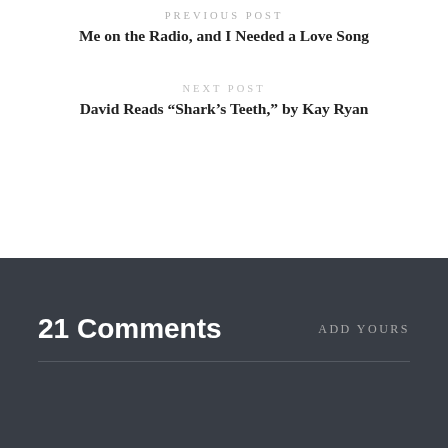PREVIOUS POST
Me on the Radio, and I Needed a Love Song
NEXT POST
David Reads “Shark’s Teeth,” by Kay Ryan
21 Comments
ADD YOURS